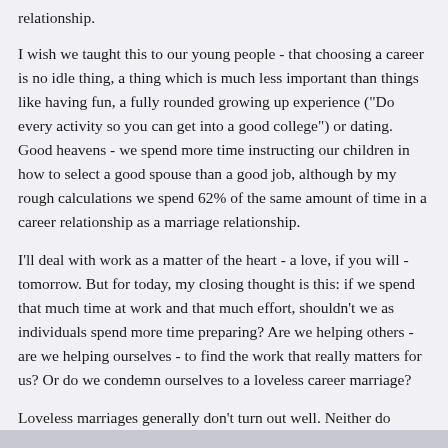relationship.
I wish we taught this to our young people - that choosing a career is no idle thing, a thing which is much less important than things like having fun, a fully rounded growing up experience ("Do every activity so you can get into a good college") or dating. Good heavens - we spend more time instructing our children in how to select a good spouse than a good job, although by my rough calculations we spend 62% of the same amount of time in a career relationship as a marriage relationship.
I'll deal with work as a matter of the heart - a love, if you will - tomorrow. But for today, my closing thought is this: if we spend that much time at work and that much effort, shouldn't we as individuals spend more time preparing? Are we helping others - are we helping ourselves - to find the work that really matters for us? Or do we condemn ourselves to a loveless career marriage?
Loveless marriages generally don't turn out well. Neither do loveless careers.